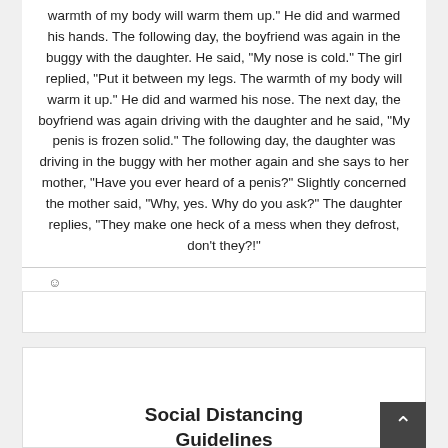warmth of my body will warm them up." He did and warmed his hands. The following day, the boyfriend was again in the buggy with the daughter. He said, "My nose is cold." The girl replied, "Put it between my legs. The warmth of my body will warm it up." He did and warmed his nose. The next day, the boyfriend was again driving with the daughter and he said, "My penis is frozen solid." The following day, the daughter was driving in the buggy with her mother again and she says to her mother, "Have you ever heard of a penis?" Slightly concerned the mother said, "Why, yes. Why do you ask?" The daughter replies, "They make one heck of a mess when they defrost, don't they?!"
[Figure (other): Smiley face emoticon symbol]
[Figure (other): Advertisement banner box (blank/gray)]
Social Distancing Guidelines